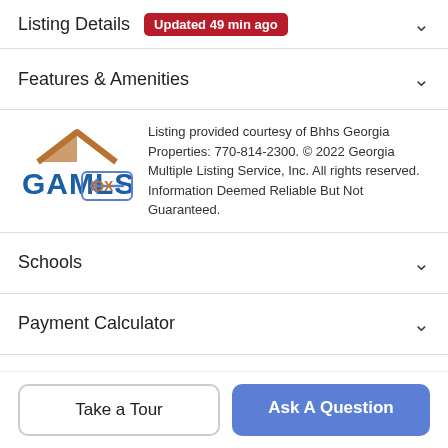Listing Details — Updated 49 min ago
Features & Amenities
[Figure (logo): GAMLS IDX logo with blue house roof and arrow]
Listing provided courtesy of Bhhs Georgia Properties: 770-814-2300. © 2022 Georgia Multiple Listing Service, Inc. All rights reserved. Information Deemed Reliable But Not Guaranteed.
Schools
Payment Calculator
Contact Agent
Take a Tour
Ask A Question